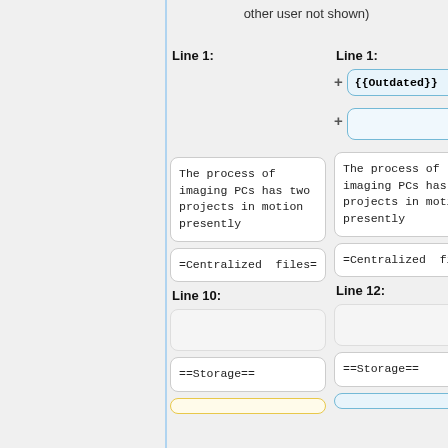other user not shown)
Line 1:
Line 1:
{{Outdated}}
The process of imaging PCs has two projects in motion presently
The process of imaging PCs has two projects in motion presently
=Centralized files=
=Centralized files=
Line 10:
Line 12:
==Storage==
==Storage==